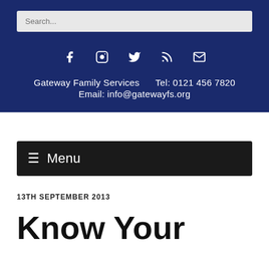[Figure (screenshot): Search input field with placeholder text 'Search...' on a dark navy background]
[Figure (infographic): Social media icons row: Facebook, Instagram, Twitter, RSS feed, Email on navy background]
Gateway Family Services    Tel: 0121 456 7820
Email: info@gatewayfs.org
☰ Menu
13TH SEPTEMBER 2013
Know Your